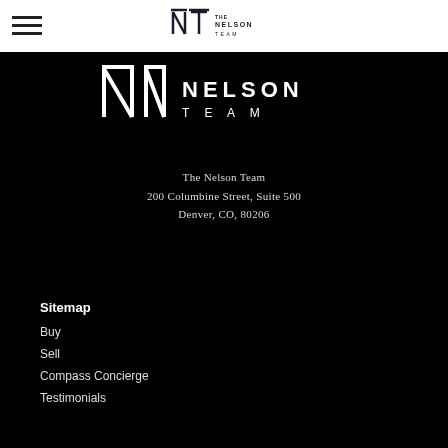[Figure (logo): The Nelson Team logo — stylized NT monogram with 'THE NELSON TEAM' text, shown in black on white header bar]
[Figure (logo): The Nelson Team large white logo on black background — NT monogram with 'NELSON TEAM' text in white]
The Nelson Team
200 Columbine Street, Suite 500
Denver, CO, 80206
Sitemap
Buy
Sell
Compass Concierge
Testimonials